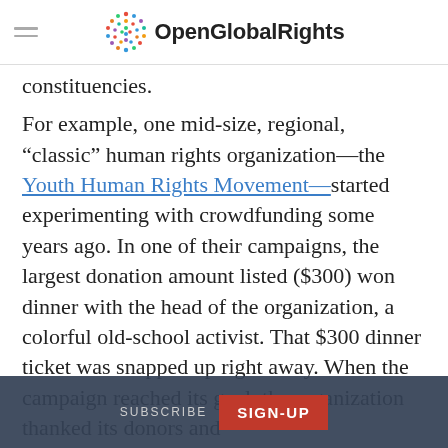OpenGlobalRights
constituencies.
For example, one mid-size, regional, “classic” human rights organization—the Youth Human Rights Movement—started experimenting with crowdfunding some years ago. In one of their campaigns, the largest donation amount listed ($300) won dinner with the head of the organization, a colorful old-school activist. That $300 dinner ticket was snapped up right away. When the campaign reached its goal, the organization thanked its donors and